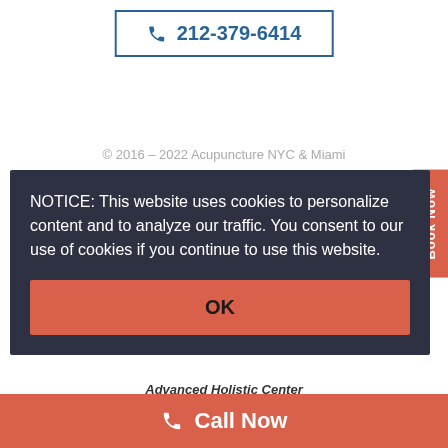212-379-6414
© 2016 – 2022 Acupuncture NYC & Miami
NOTICE: This website uses cookies to personalize content and to analyze our traffic. You consent to our use of cookies if you continue to use this website.
OK
Book Now
Advanced Holistic Center
Call Now